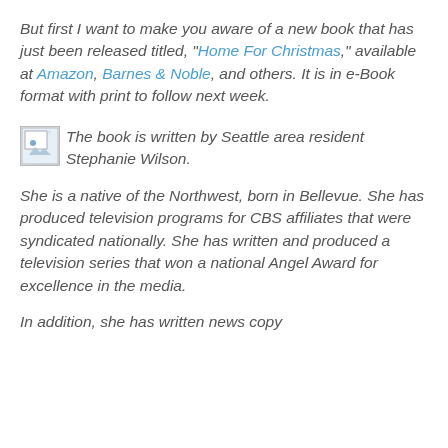But first I want to make you aware of a new book that has just been released titled, "Home For Christmas," available at Amazon, Barnes & Noble, and others. It is in e-Book format with print to follow next week.
[Figure (photo): Broken/missing image placeholder thumbnail]
The book is written by Seattle area resident Stephanie Wilson.
She is a native of the Northwest, born in Bellevue. She has produced television programs for CBS affiliates that were syndicated nationally. She has written and produced a television series that won a national Angel Award for excellence in the media.
In addition, she has written news copy